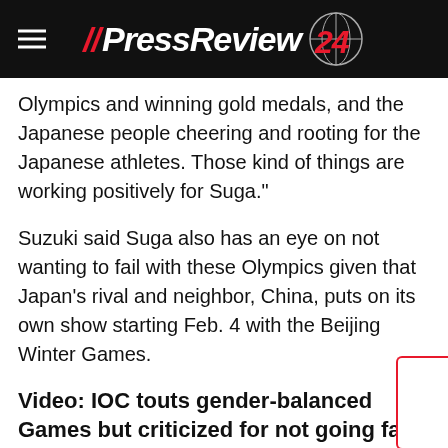//PressReview 24
Olympics and winning gold medals, and the Japanese people cheering and rooting for the Japanese athletes. Those kind of things are working positively for Suga."
Suzuki said Suga also has an eye on not wanting to fail with these Olympics given that Japan's rival and neighbor, China, puts on its own show starting Feb. 4 with the Beijing Winter Games.
Video: IOC touts gender-balanced Games but criticized for not going far enough (cbc.ca)
[Figure (screenshot): Video thumbnail with red text: Chasing Gold: Katie Ledecky Leaves Tokyo With Four Medals, Team USA Headed For Podium In Baseball]